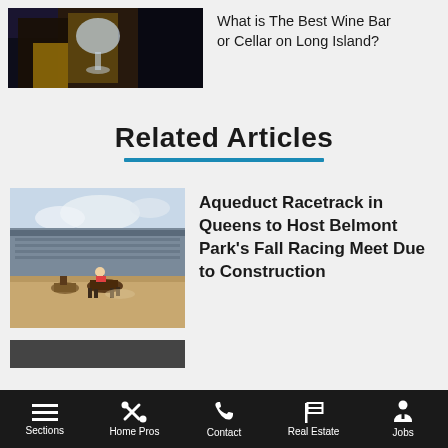[Figure (photo): Person holding wine glass, dark background with gold tones]
What is The Best Wine Bar or Cellar on Long Island?
Related Articles
[Figure (photo): Horse racing at Aqueduct Racetrack, horses on dirt track with grandstand in background]
Aqueduct Racetrack in Queens to Host Belmont Park's Fall Racing Meet Due to Construction
Sections  Home Pros  Contact  Real Estate  Jobs